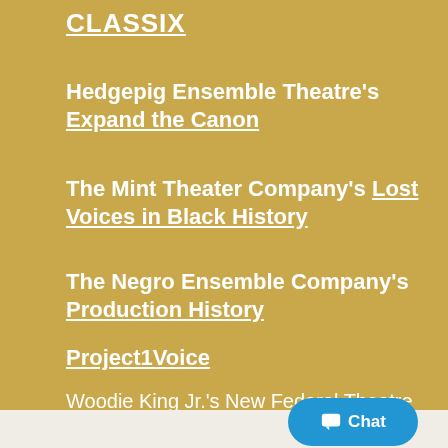CLASSIX
Hedgepig Ensemble Theatre's Expand the Canon
The Mint Theater Company's Lost Voices in Black History
The Negro Ensemble Company's Production History
Project1Voice
Woodie King Jr.'s New Federal Theatre Production Archive